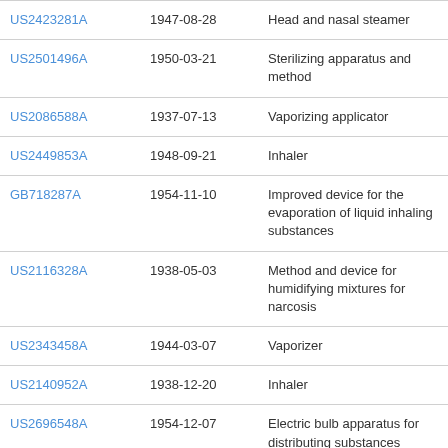| Publication | Date | Title |
| --- | --- | --- |
| US2423281A (partial) | 1947-08-28 | Head and nasal steamer |
| US2501496A | 1950-03-21 | Sterilizing apparatus and method |
| US2086588A | 1937-07-13 | Vaporizing applicator |
| US2449853A | 1948-09-21 | Inhaler |
| GB718287A | 1954-11-10 | Improved device for the evaporation of liquid inhaling substances |
| US2116328A | 1938-05-03 | Method and device for humidifying mixtures for narcosis |
| US2343458A | 1944-03-07 | Vaporizer |
| US2140952A | 1938-12-20 | Inhaler |
| US2696548A | 1954-12-07 | Electric bulb apparatus for distributing substances suitable for ameliorating and/or disinfecting the air and/or insectides |
| (partial next row) |  |  |